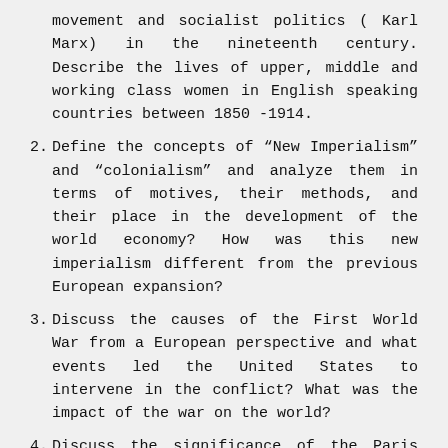movement and socialist politics ( Karl Marx) in the nineteenth century. Describe the lives of upper, middle and working class women in English speaking countries between 1850 -1914.
2. Define the concepts of “New Imperialism” and “colonialism” and analyze them in terms of motives, their methods, and their place in the development of the world economy? How was this new imperialism different from the previous European expansion?
3. Discuss the causes of the First World War from a European perspective and what events led the United States to intervene in the conflict? What was the impact of the war on the world?
4. Discuss the significance of the Paris Peace